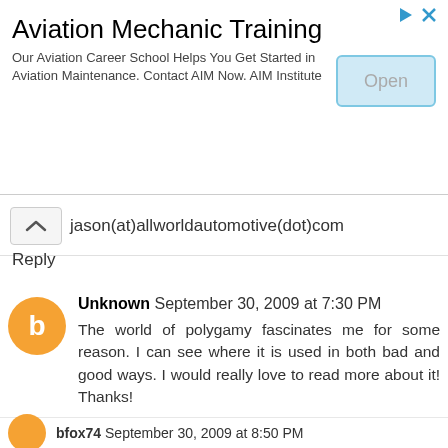[Figure (screenshot): Advertisement banner for Aviation Mechanic Training with an Open button]
jason(at)allworldautomotive(dot)com
Reply
Unknown September 30, 2009 at 7:30 PM
The world of polygamy fascinates me for some reason. I can see where it is used in both bad and good ways. I would really love to read more about it! Thanks!

sherri419 at gmail dot com
Reply
bfox74 September 30, 2009 at 8:50 PM